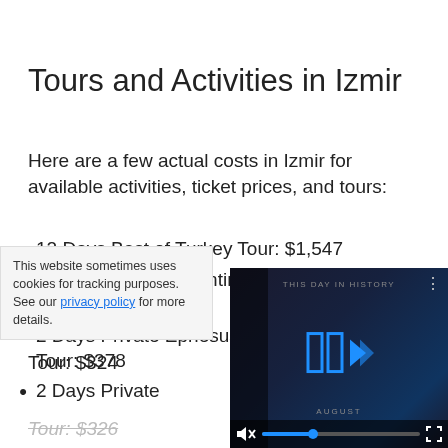Tours and Activities in Izmir
Here are a few actual costs in Izmir for available activities, ticket prices, and tours:
12 Days Best of Turkey Tour: $1,547
2 Days Private Byzantine & Ottoman & Ephesus Tour: $405
2 Days Private Ephesus and Pamukkale Tour: $378
2 Days Private [Tour]: $324
This website sometimes uses cookies for tracking purposes. See our privacy policy for more details.
[Figure (screenshot): Video player showing 'THIS DAY IN HISTORY' with blue logo, playback controls, mute button, progress bar with blue dot, and fullscreen button. Month label 'AUGUST' visible.]